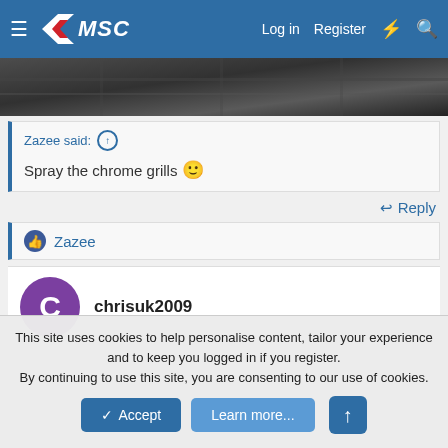MSC — Log in  Register
[Figure (photo): Partial view of a dark car undercarriage or grille area, cropped at top]
Zazee said: ↑
Spray the chrome grills 🙂
↩ Reply
👍 Zazee
chrisuk2009
This site uses cookies to help personalise content, tailor your experience and to keep you logged in if you register.
By continuing to use this site, you are consenting to our use of cookies.
✓ Accept    Learn more...